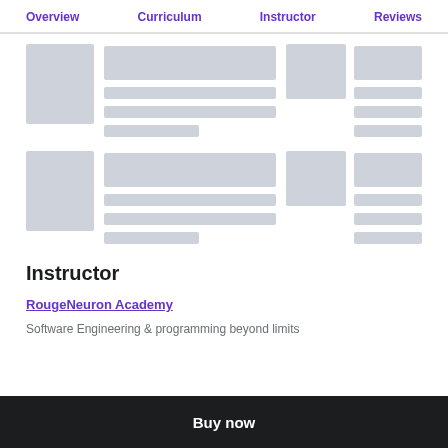Overview  Curriculum  Instructor  Reviews
[Figure (screenshot): Skeleton loading placeholders for course card rows (2 rows of placeholder content)]
Instructor
RougeNeuron Academy
Software Engineering & programming beyond limits